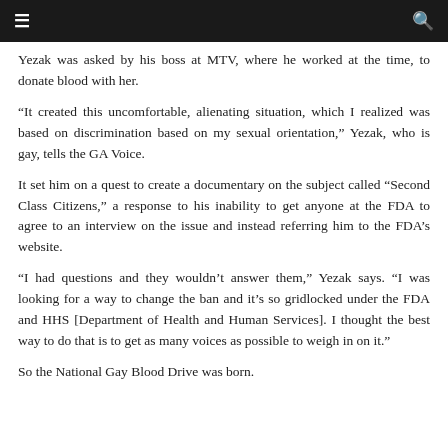≡  🔍
Yezak was asked by his boss at MTV, where he worked at the time, to donate blood with her.
“It created this uncomfortable, alienating situation, which I realized was based on discrimination based on my sexual orientation,” Yezak, who is gay, tells the GA Voice.
It set him on a quest to create a documentary on the subject called “Second Class Citizens,” a response to his inability to get anyone at the FDA to agree to an interview on the issue and instead referring him to the FDA’s website.
“I had questions and they wouldn’t answer them,” Yezak says. “I was looking for a way to change the ban and it’s so gridlocked under the FDA and HHS [Department of Health and Human Services]. I thought the best way to do that is to get as many voices as possible to weigh in on it.”
So the National Gay Blood Drive was born.